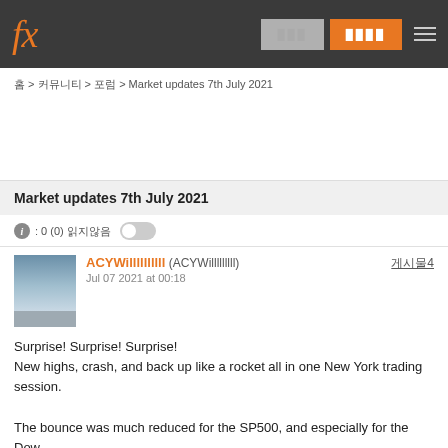fx [nav buttons] [menu]
홈 > 커뮤니티 > 포럼 > Market updates 7th July 2021
Market updates 7th July 2021
ⓘ : 0 (0) 읽지않음
ACYWillllllllll (ACYWilllllllll)
Jul 07 2021 at 00:18
게시물4
Surprise! Surprise! Surprise!
New highs, crash, and back up like a rocket all in one New York trading session.

The bounce was much reduced for the SP500, and especially for the Dow